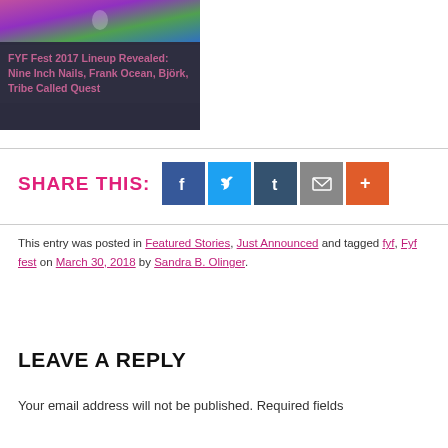[Figure (photo): FYF Fest promotional image with dark overlay and pink/purple/green colorful background]
FYF Fest 2017 Lineup Revealed: Nine Inch Nails, Frank Ocean, Björk, Tribe Called Quest
SHARE THIS:
[Figure (infographic): Social share buttons: Facebook (blue), Twitter (light blue), Tumblr (dark blue), Email (grey), More (orange)]
This entry was posted in Featured Stories, Just Announced and tagged fyf, Fyf fest on March 30, 2018 by Sandra B. Olinger.
LEAVE A REPLY
Your email address will not be published. Required fields